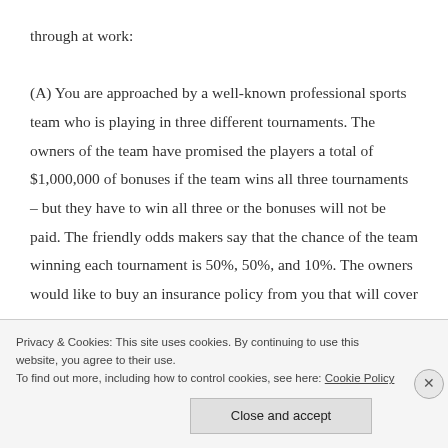through at work:
(A) You are approached by a well-known professional sports team who is playing in three different tournaments. The owners of the team have promised the players a total of $1,000,000 of bonuses if the team wins all three tournaments – but they have to win all three or the bonuses will not be paid. The friendly odds makers say that the chance of the team winning each tournament is 50%, 50%, and 10%. The owners would like to buy an insurance policy from you that will cover
Privacy & Cookies: This site uses cookies. By continuing to use this website, you agree to their use.
To find out more, including how to control cookies, see here: Cookie Policy
Close and accept